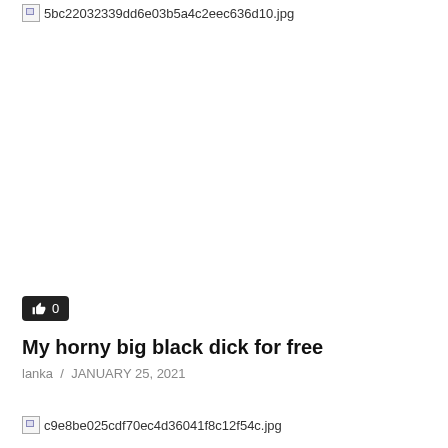[Figure (photo): Broken image placeholder: 5bc22032339dd6e03b5a4c2eec636d10.jpg]
👍 0
My horny big black dick for free
lanka / JANUARY 25, 2021
[Figure (photo): Broken image placeholder: c9e8be025cdf70ec4d36041f8c12f54c.jpg]